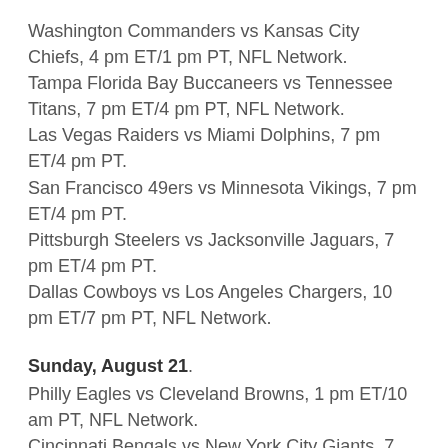Washington Commanders vs Kansas City Chiefs, 4 pm ET/1 pm PT, NFL Network.
Tampa Florida Bay Buccaneers vs Tennessee Titans, 7 pm ET/4 pm PT, NFL Network.
Las Vegas Raiders vs Miami Dolphins, 7 pm ET/4 pm PT.
San Francisco 49ers vs Minnesota Vikings, 7 pm ET/4 pm PT.
Pittsburgh Steelers vs Jacksonville Jaguars, 7 pm ET/4 pm PT.
Dallas Cowboys vs Los Angeles Chargers, 10 pm ET/7 pm PT, NFL Network.
Sunday, August 21.
Philly Eagles vs Cleveland Browns, 1 pm ET/10 am PT, NFL Network.
Cincinnati Bengals vs New York City Giants, 7 pm ET/4 pm PT, NFL Network.
Baltimore Ravens vs Arizona Cardinals, 8 pm ET/5 pm